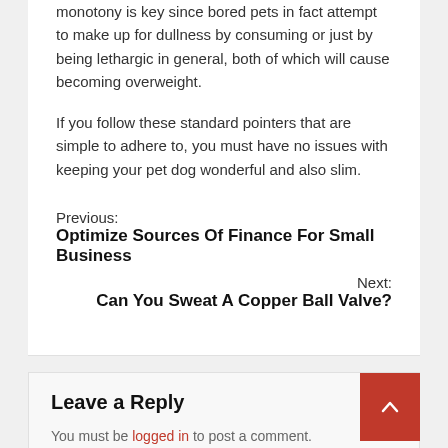monotony is key since bored pets in fact attempt to make up for dullness by consuming or just by being lethargic in general, both of which will cause becoming overweight.
If you follow these standard pointers that are simple to adhere to, you must have no issues with keeping your pet dog wonderful and also slim.
Previous: Optimize Sources Of Finance For Small Business
Next: Can You Sweat A Copper Ball Valve?
Leave a Reply
You must be logged in to post a comment.